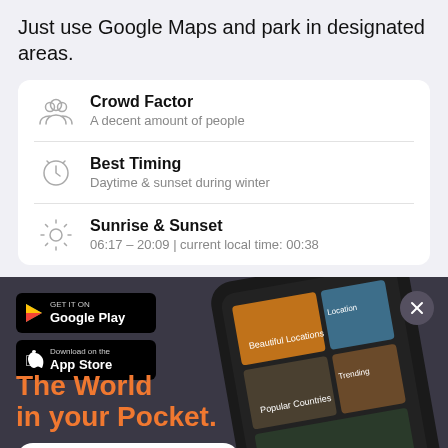Just use Google Maps and park in designated areas.
Crowd Factor
A decent amount of people
Best Timing
Daytime & sunset during winter
Sunrise & Sunset
06:17 – 20:09 | current local time: 00:38
[Figure (screenshot): App promotion banner with dark purple background showing a smartphone with Locationscout app, Google Play and App Store badges, orange text 'The World in your Pocket.' and a white 'Open Locationscout App →' button]